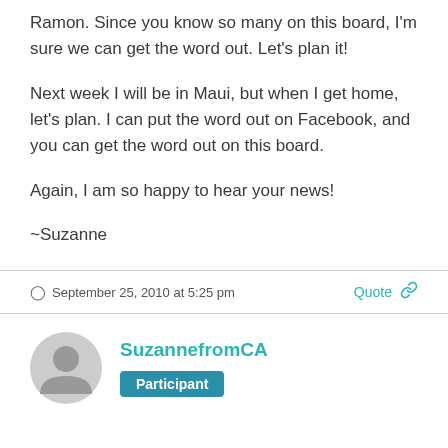Ramon. Since you know so many on this board, I'm sure we can get the word out. Let's plan it!
Next week I will be in Maui, but when I get home, let's plan. I can put the word out on Facebook, and you can get the word out on this board.
Again, I am so happy to hear your news!
~Suzanne
September 25, 2010 at 5:25 pm
Quote
SuzannefromCA
Participant